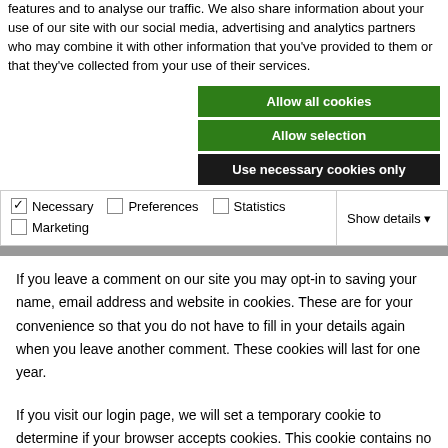features and to analyse our traffic. We also share information about your use of our site with our social media, advertising and analytics partners who may combine it with other information that you've provided to them or that they've collected from your use of their services.
[Figure (screenshot): Cookie consent buttons: 'Allow all cookies' (green), 'Allow selection' (green), 'Use necessary cookies only' (black)]
| ☑ Necessary | ☐ Preferences | ☐ Statistics | Show details ▾ |
| ☐ Marketing |  |  |  |
If you leave a comment on our site you may opt-in to saving your name, email address and website in cookies. These are for your convenience so that you do not have to fill in your details again when you leave another comment. These cookies will last for one year.
If you visit our login page, we will set a temporary cookie to determine if your browser accepts cookies. This cookie contains no personal data and is discarded when you close your browser.